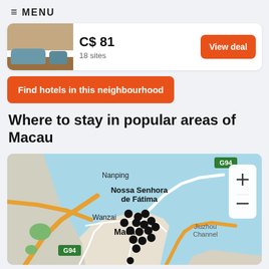≡ MENU
C$ 81
18 sites
View deal
Find hotels in this neighbourhood
Where to stay in popular areas of Macau
[Figure (map): Map of Macau showing hotel locations as black dots, with labels for Nanping, Nossa Senhora de Fátima, Wanzai, Macau, Jiuzhou Channel, and road G94. Map includes zoom controls (+/-) and shows water in blue.]